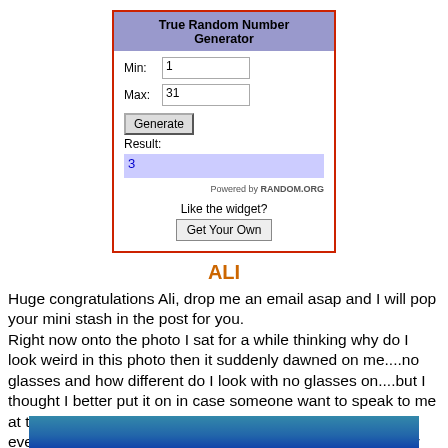[Figure (screenshot): True Random Number Generator widget screenshot. Shows a white box with red border. Header 'True Random Number Generator' on blue-purple background. Min: 1, Max: 31 input fields. Generate button. Result: 3 shown in blue-purple highlighted box. Powered by RANDOM.ORG. Below: 'Like the widget?' and 'Get Your Own' button.]
ALI
Huge congratulations Ali, drop me an email asap and I will pop your mini stash in the post for you.
Right now onto the photo I sat for a while thinking why do I look weird in this photo then it suddenly dawned on me....no glasses and how different do I look with no glasses on....but I thought I better put it on in case someone want to speak to me at the NEC and doesn't recognise me lol...have a fab day everyone we are having a lush roast beef family lunch today which doesn't happen often now as my Daughter is usually working....so yum yum yum
Mina xxx
[Figure (photo): Partial photo visible at bottom of page, appears to be a blue/teal image cropped.]